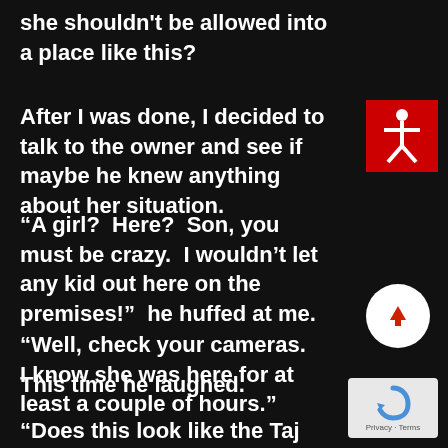she shouldn't be allowed into a place like this?
After I was done, I decided to talk to the owner and see if maybe he knew anything about her situation.
“A girl?  Here?  Son, you must be crazy.  I wouldn’t let any kid out here on the premises!”  he huffed at me.
“Well, check your cameras.  I know she was here for at least a couple of hours.”
This time he laughed.
“Does this look like the Taj Mahal?  I